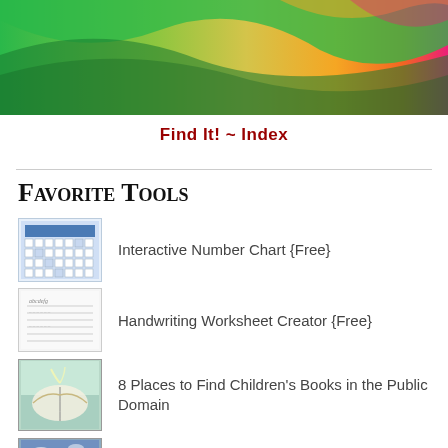[Figure (photo): Colorful wavy abstract background with green, yellow, orange, and pink bands]
Find It! ~ Index
Favorite Tools
Interactive Number Chart {Free}
Handwriting Worksheet Creator {Free}
8 Places to Find Children's Books in the Public Domain
Free Nature Studies: Our Wonderful World